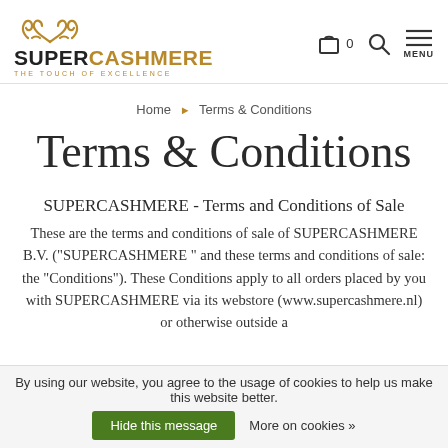SUPERCASHMERE - THE TOUCH OF EXCELLENCE | Cart 0 | Search | MENU
Home ▶ Terms & Conditions
Terms & Conditions
SUPERCASHMERE - Terms and Conditions of Sale
These are the terms and conditions of sale of SUPERCASHMERE B.V. ("SUPERCASHMERE " and these terms and conditions of sale: the "Conditions"). These Conditions apply to all orders placed by you with SUPERCASHMERE via its webstore (www.supercashmere.nl) or otherwise outside a
By using our website, you agree to the usage of cookies to help us make this website better.   Hide this message   More on cookies »